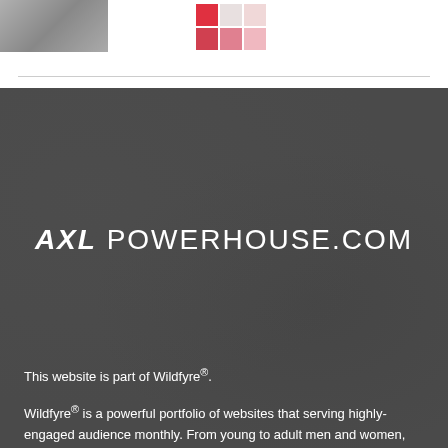[Figure (photo): Partial image of two people at top left]
[Figure (infographic): Grid of colored squares in red and pink tones]
AXL POWERHOUSE.COM
This website is part of Wildfyre®.
Wildfyre® is a powerful portfolio of websites that serving highly-engaged audience monthly. From young to adult men and women, our audience show an unparalleled commitment to our online platforms and content.